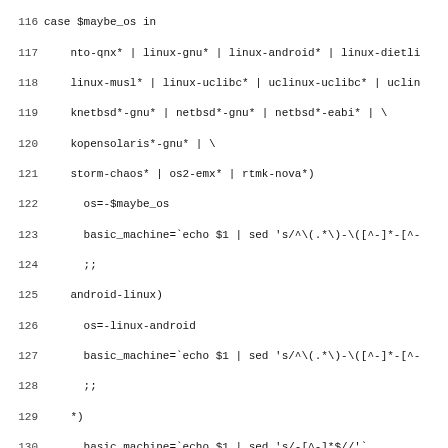[Figure (screenshot): Source code listing (shell script) showing lines 116–147, with line numbers on the left and monospace code on the right. Content includes a case statement for OS detection in a configure/config.sub script.]